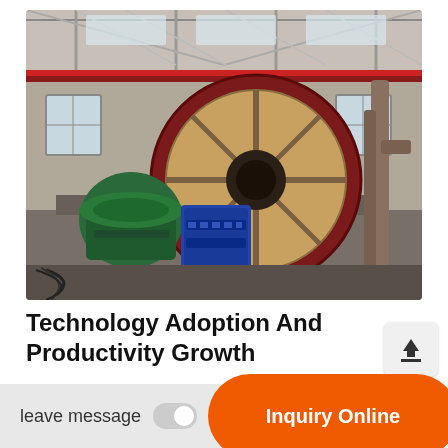[Figure (photo): Industrial interior with large grinding/ball mill machinery including a large circular red flywheel/gear, blue and green motors/blowers on a concrete foundation inside a warehouse with metal roof trusses and pipes.]
Technology Adoption And Productivity Growth
entrants. in the comparison sectors, we also nd a sizeable increase in plant productivity during the sample